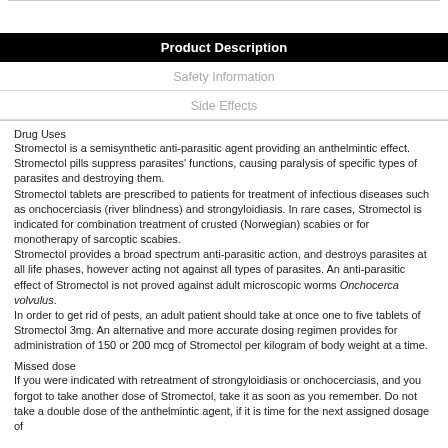Product Description
Safety Information
Side Effects
Drug Uses
Stromectol is a semisynthetic anti-parasitic agent providing an anthelmintic effect. Stromectol pills suppress parasites' functions, causing paralysis of specific types of parasites and destroying them.
Stromectol tablets are prescribed to patients for treatment of infectious diseases such as onchocerciasis (river blindness) and strongyloidiasis. In rare cases, Stromectol is indicated for combination treatment of crusted (Norwegian) scabies or for monotherapy of sarcoptic scabies.
Stromectol provides a broad spectrum anti-parasitic action, and destroys parasites at all life phases, however acting not against all types of parasites. An anti-parasitic effect of Stromectol is not proved against adult microscopic worms Onchocerca volvulus.
In order to get rid of pests, an adult patient should take at once one to five tablets of Stromectol 3mg. An alternative and more accurate dosing regimen provides for administration of 150 or 200 mcg of Stromectol per kilogram of body weight at a time.
Missed dose
If you were indicated with retreatment of strongyloidiasis or onchocerciasis, and you forgot to take another dose of Stromectol, take it as soon as you remember. Do not take a double dose of the anthelmintic agent, if it is time for the next assigned dosage of